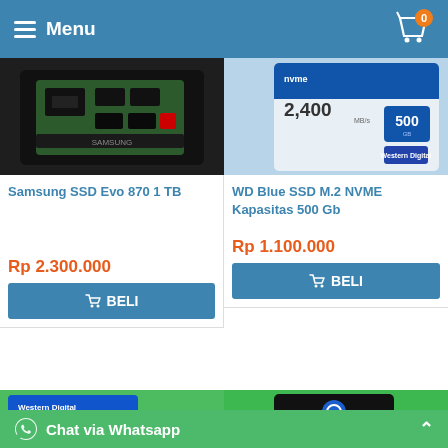Menu
[Figure (photo): Samsung SSD Evo 870 1TB product on dark tray]
Samsung SSD Evo 870 1 TB
Rp 2.300.000
BELI
[Figure (photo): WD Blue SSD M.2 NVME 500GB box product photo]
WD Blue SSD M.2 NVME Kapasitas 500 Gb
Rp 1.100.000
BELI
[Figure (photo): Western Digital WD Blue SN550 NVMe SSD product box on green background]
[Figure (photo): Samsung SSD box on green background]
Chat via Whatsapp